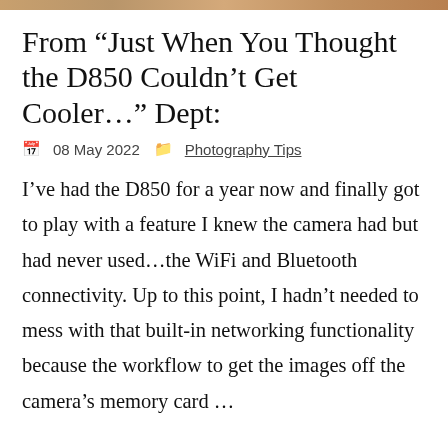[Figure (photo): Thin decorative image strip at the top of the page, showing a warm-toned photographic image strip]
From “Just When You Thought the D850 Couldn’t Get Cooler…” Dept:
08 May 2022  Photography Tips
I’ve had the D850 for a year now and finally got to play with a feature I knew the camera had but had never used…the WiFi and Bluetooth connectivity. Up to this point, I hadn’t needed to mess with that built-in networking functionality because the workflow to get the images off the camera’s memory card …